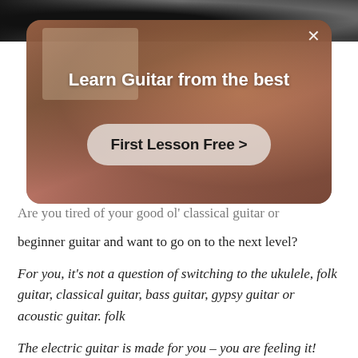[Figure (screenshot): Modal overlay on a webpage showing a guitar lesson advertisement with a person gesturing in the background, title 'Learn Guitar from the best' and a 'First Lesson Free >' call-to-action button, with an X close button]
Are you tired of your good ol' classical guitar or beginner guitar and want to go on to the next level?
For you, it's not a question of switching to the ukulele, folk guitar, classical guitar, bass guitar, gypsy guitar or acoustic guitar. folk
The electric guitar is made for you – you are feeling it!